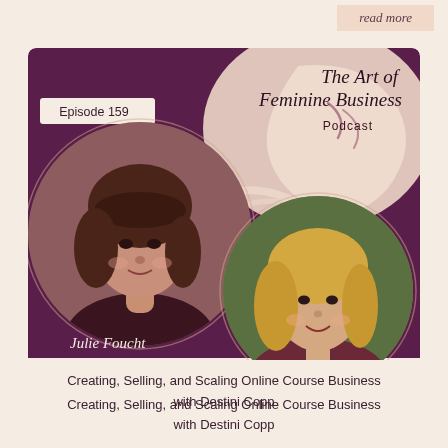read more
[Figure (illustration): Podcast episode cover art for 'The Art of Feminine Business Podcast', Episode 159, featuring two circular portrait photos of women — Julie Foucht on the left with dark hair, and Destini Copp on the right with blonde hair — on a deep purple background with decorative swirl elements and a cream/peach border area.]
Creating, Selling, and Scaling Online Course Business with Destini Copp